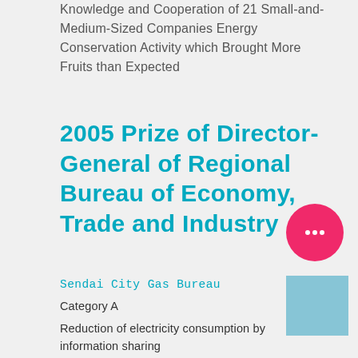Knowledge and Cooperation of 21 Small-and-Medium-Sized Companies Energy Conservation Activity which Brought More Fruits than Expected
2005 Prize of Director-General of Regional Bureau of Economy, Trade and Industry
Sendai City Gas Bureau
Category A
Reduction of electricity consumption by information sharing